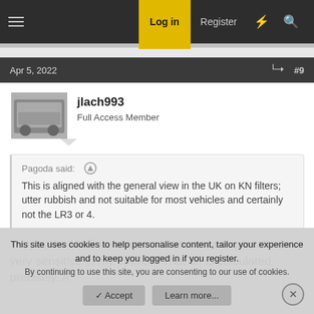Log in  Register
Apr 5, 2022  #9
jlach993
Full Access Member
Pagoda said: ↑
This is aligned with the general view in the UK on KN filters; utter rubbish and not suitable for most vehicles and certainly not the LR3 or 4.
Yeppo, the MAF sensors on land rovers especially are very sensitive in my opinion. That air is calculated precisely. A
This site uses cookies to help personalise content, tailor your experience and to keep you logged in if you register.
By continuing to use this site, you are consenting to our use of cookies.